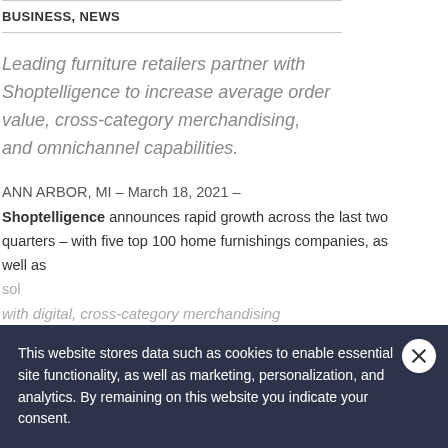BUSINESS, NEWS
Leading furniture retailers partner with Shoptelligence to increase average order value, cross-category merchandising, and omnichannel capabilities.
ANN ARBOR, MI – March 18, 2021 –
Shoptelligence announces rapid growth across the last two quarters – with five top 100 home furnishings companies, as well as
This website stores data such as cookies to enable essential site functionality, as well as marketing, personalization, and analytics. By remaining on this website you indicate your consent.